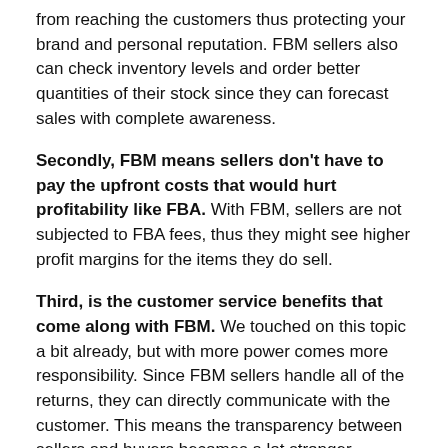from reaching the customers thus protecting your brand and personal reputation. FBM sellers also can check inventory levels and order better quantities of their stock since they can forecast sales with complete awareness.
Secondly, FBM means sellers don't have to pay the upfront costs that would hurt profitability like FBA. With FBM, sellers are not subjected to FBA fees, thus they might see higher profit margins for the items they do sell.
Third, is the customer service benefits that come along with FBM. We touched on this topic a bit already, but with more power comes more responsibility. Since FBM sellers handle all of the returns, they can directly communicate with the customer. This means the transparency between sellers and buyers becomes a lot stronger, allowing for more trust and communication between two parties.
Cons of Self Shipping